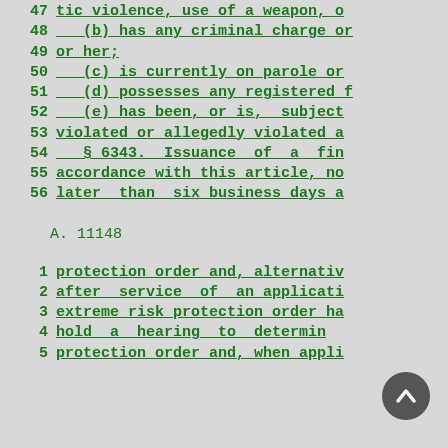47  tic violence, use of a weapon, o
48    (b) has any criminal charge or
49  or her;
50    (c) is currently on parole or
51    (d) possesses any registered f
52    (e) has been, or is,  subject
53  violated or allegedly violated a
54    § 6343.  Issuance of a fin
55  accordance with this article, no
56  later  than  six business days a
A. 11148
1   protection order and, alternativ
2   after  service  of  an applicati
3   extreme risk protection order ha
4   hold  a  hearing  to  determin
5   protection order and, when appli